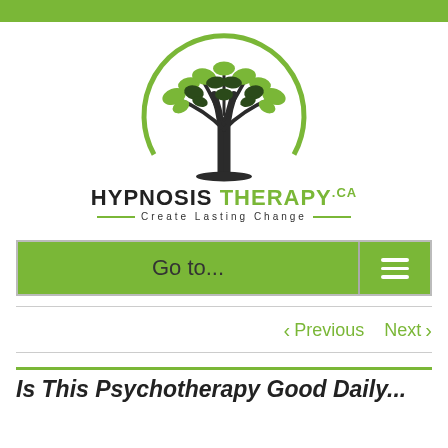[Figure (logo): Hypnosis Therapy .ca logo with tree illustration and tagline 'Create Lasting Change']
Go to...
< Previous    Next >
Is This Psychotherapy Good Daily...